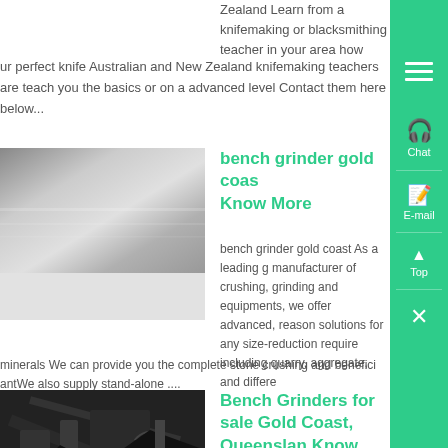Zealand Learn from a knifemaking or blacksmithing teacher in your area how ur perfect knife Australian and New Zealand knifemaking teachers are teach you the basics or on a advanced level Contact them here below...
[Figure (photo): Metallic surface photo (brushed metal/steel)]
bench grinder gold coas Know More
bench grinder gold coast As a leading g manufacturer of crushing, grinding and equipments, we offer advanced, reason solutions for any size-reduction require including quarry, aggregate, and differe minerals We can provide you the complete stone crushing and benefici antWe also supply stand-alone ....
[Figure (photo): Industrial factory/workshop interior with machinery]
Bench Grinders for sale Gold Coast, Queensland Know More